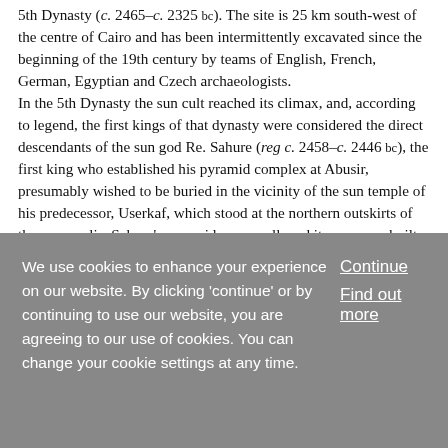5th Dynasty (c. 2465–c. 2325 bc). The site is 25 km south-west of the centre of Cairo and has been intermittently excavated since the beginning of the 19th century by teams of English, French, German, Egyptian and Czech archaeologists. In the 5th Dynasty the sun cult reached its climax, and, according to legend, the first kings of that dynasty were considered the direct descendants of the sun god Re. Sahure (reg c. 2458–c. 2446 bc), the first king who established his pyramid complex at Abusir, presumably wished to be buried in the vicinity of the sun temple of his predecessor, Userkaf, which stood at the northern outskirts of the necropolis. Sahure's pyramid was small, and its core was built of poor
We use cookies to enhance your experience on our website. By clicking 'continue' or by continuing to use our website, you are agreeing to our use of cookies. You can change your cookie settings at any time.